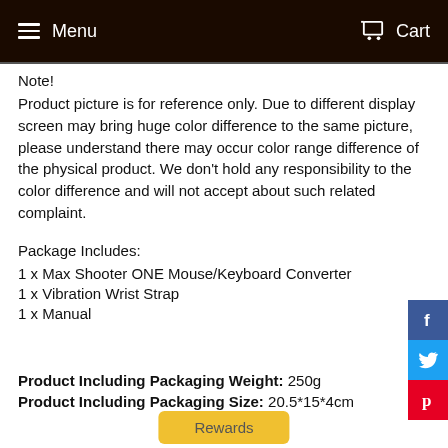Menu   Cart
Note!
Product picture is for reference only. Due to different display screen may bring huge color difference to the same picture, please understand there may occur color range difference of the physical product. We don't hold any responsibility to the color difference and will not accept about such related complaint.
Package Includes:
1 x Max Shooter ONE Mouse/Keyboard Converter
1 x Vibration Wrist Strap
1 x Manual
Product Including Packaging Weight: 250g
Product Including Packaging Size: 20.5*15*4cm